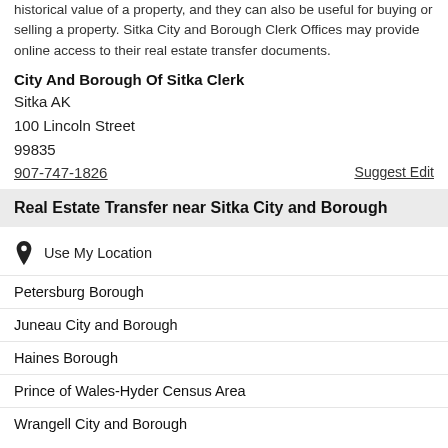historical value of a property, and they can also be useful for buying or selling a property. Sitka City and Borough Clerk Offices may provide online access to their real estate transfer documents.
City And Borough Of Sitka Clerk
Sitka AK
100 Lincoln Street
99835
907-747-1826
Real Estate Transfer near Sitka City and Borough
Use My Location
Petersburg Borough
Juneau City and Borough
Haines Borough
Prince of Wales-Hyder Census Area
Wrangell City and Borough